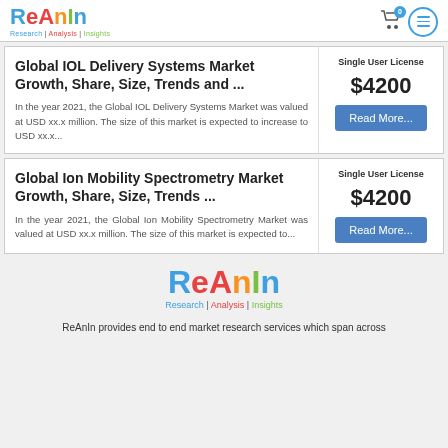ReAnIn Research | Analysis | Insights
Global IOL Delivery Systems Market Growth, Share, Size, Trends and ...
In the year 2021, the Global IOL Delivery Systems Market was valued at USD xx.x million. The size of this market is expected to increase to USD xx.x...
Single User License
$4200
Read More...
Global Ion Mobility Spectrometry Market Growth, Share, Size, Trends ...
In the year 2021, the Global Ion Mobility Spectrometry Market was valued at USD xx.x million. The size of this market is expected to...
Single User License
$4200
Read More...
[Figure (logo): ReAnIn logo - Research Analysis Insights]
ReAnIn provides end to end market research services which span across